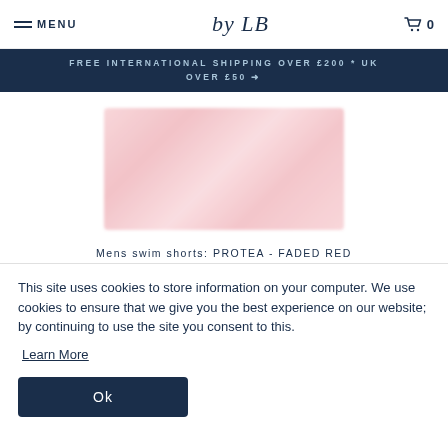MENU | by LB | 0
FREE INTERNATIONAL SHIPPING OVER £200 * UK OVER £50 →
[Figure (photo): Product image of mens swim shorts in faded red/pink floral pattern, blurred/pixelated]
Mens swim shorts: PROTEA - FADED RED
This site uses cookies to store information on your computer. We use cookies to ensure that we give you the best experience on our website; by continuing to use the site you consent to this.
Learn More
Ok